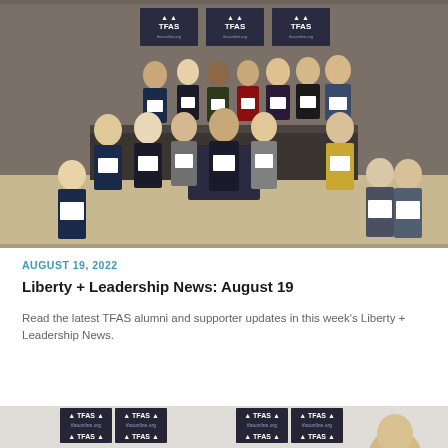[Figure (photo): Group photo of approximately 20 TFAS students/graduates in formal attire holding certificates/awards, standing in front of TFAS branded banners in an indoor venue]
AUGUST 19, 2022
Liberty + Leadership News: August 19
Read the latest TFAS alumni and supporter updates in this week's Liberty + Leadership News.
[Figure (photo): Partial view of a person in front of multiple TFAS branded signs/banners, bottom of page cropped]